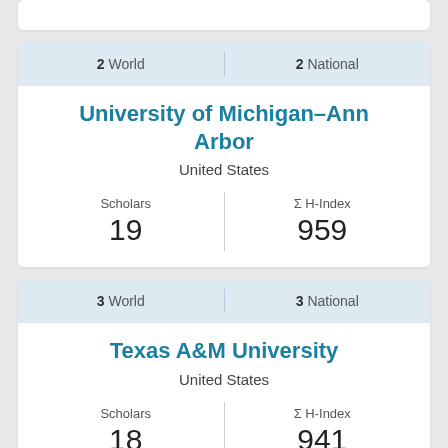| World Rank | National Rank |
| --- | --- |
| 2 World | 2 National |
University of Michigan–Ann Arbor
United States
| Scholars | Σ H-Index |
| --- | --- |
| 19 | 959 |
| World Rank | National Rank |
| --- | --- |
| 3 World | 3 National |
Texas A&M University
United States
| Scholars | Σ H-Index |
| --- | --- |
| 18 | 941 |